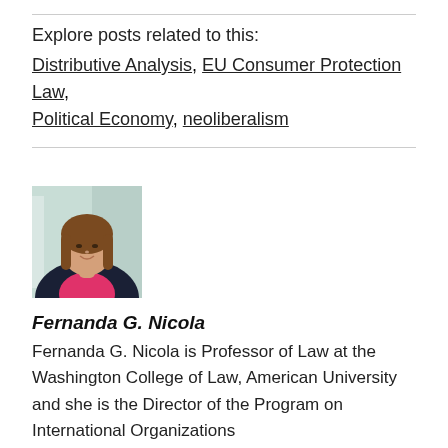Explore posts related to this:
Distributive Analysis, EU Consumer Protection Law, Political Economy, neoliberalism
[Figure (photo): Professional headshot of Fernanda G. Nicola, a woman with shoulder-length brown hair wearing a dark blazer over a bright pink/magenta top, photographed in front of a blurred indoor window background.]
Fernanda G. Nicola
Fernanda G. Nicola is Professor of Law at the Washington College of Law, American University and she is the Director of the Program on International Organizations